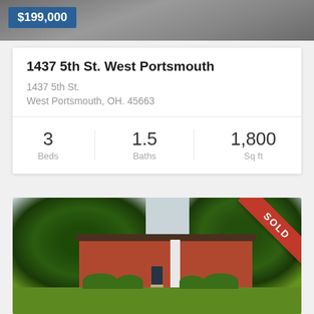[Figure (photo): Top portion of house exterior photo with gray/dark tones, partially visible]
$199,000
1437 5th St. West Portsmouth
1437 5th St.
West Portsmouth, OH. 45663
| Beds | Baths | Sq ft |
| --- | --- | --- |
| 3 | 1.5 | 1,800 |
[Figure (photo): Exterior photo of a single-story brick ranch house with trees, green lawn, and a red 'SOLD' diagonal banner in the top-right corner]